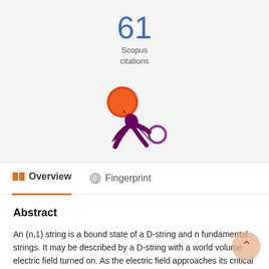61
Scopus citations
[Figure (logo): Altmetric/Pure logo: an orange-red circle with purple teardrop-shaped connectors radiating outward and a small purple circle]
Overview
Fingerprint
Abstract
An (n,1) string is a bound state of a D-string and n fundamental strings. It may be described by a D-string with a world volume electric field turned on. As the electric field approaches its critical value, n becomes large. We calculate the 4-point function for